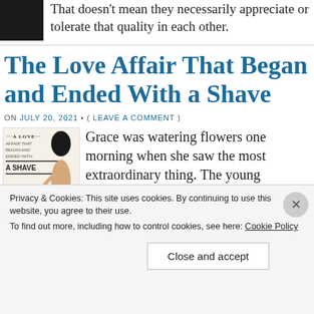[Figure (photo): Dark/black and white photo of a person, cropped at top left]
That doesn't mean they necessarily appreciate or tolerate that quality in each other.
The Love Affair That Began and Ended With a Shave
ON JULY 20, 2021 • ( LEAVE A COMMENT )
[Figure (illustration): Book cover illustration for 'A Love Affair That Began and Ended With a Shave' showing a nude figure]
Grace was watering flowers one morning when she saw the most extraordinary thing. The young schoolteacher was just a couple of years into her
Privacy & Cookies: This site uses cookies. By continuing to use this website, you agree to their use. To find out more, including how to control cookies, see here: Cookie Policy
Close and accept